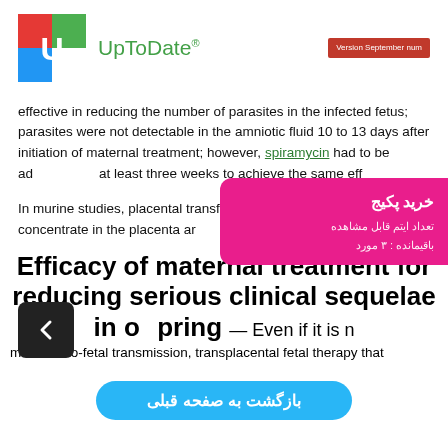UpToDate® — Version September num
effective in reducing the number of parasites in the infected fetus; parasites were not detectable in the amniotic fluid 10 to 13 days after initiation of maternal treatment; however, spiramycin had to be administered at least three weeks to achieve the same effect.
In murine studies, placental transfer of spiramycin was poor, but it did concentrate in the placenta and may have local effects [4,94,95].
Efficacy of maternal treatment for reducing serious clinical sequelae in offspring — Even if it is maternal-to-fetal transmission, transplacental fetal therapy that